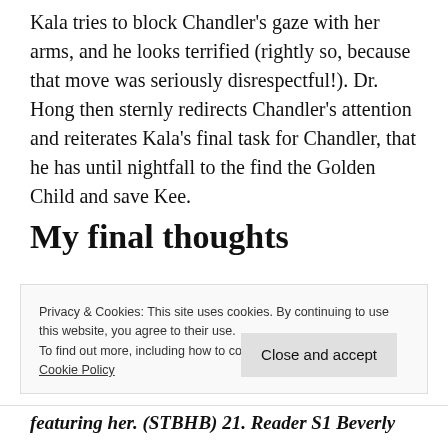Kala tries to block Chandler's gaze with her arms, and he looks terrified (rightly so, because that move was seriously disrespectful!). Dr. Hong then sternly redirects Chandler's attention and reiterates Kala's final task for Chandler, that he has until nightfall to the find the Golden Child and save Kee.
My final thoughts
Privacy & Cookies: This site uses cookies. By continuing to use this website, you agree to their use.
To find out more, including how to control cookies, see here: Cookie Policy
Close and accept
featuring her. (STBHB) 21. Reader S1 Beverly